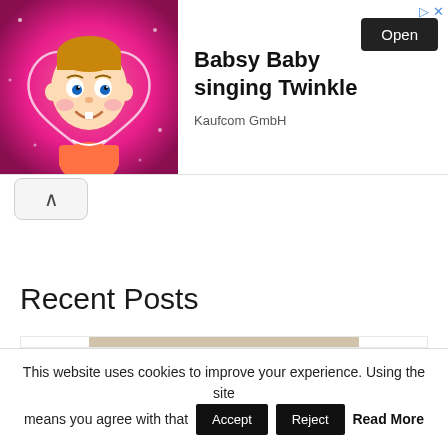[Figure (advertisement): Ad banner for Babsy Baby singing Twinkle app by Kaufcom GmbH. Left side shows an animated baby cartoon on pink sparkly background. Right side has bold text 'Babsy Baby singing Twinkle', company name 'Kaufcom GmbH', and an 'Open' button.]
[Figure (illustration): Collapse/chevron-up button below the ad banner]
Recent Posts
[Figure (photo): Photo of an orange McLaren supercar (likely McLaren 600LT or similar) parked on a dusty surface, with black wheels and dark accents. Another dark vehicle is partially visible in the background.]
This website uses cookies to improve your experience. Using the site means you agree with that
Accept
Reject
Read More